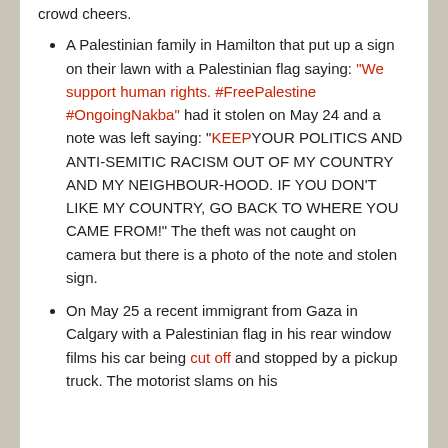crowd cheers.
A Palestinian family in Hamilton that put up a sign on their lawn with a Palestinian flag saying: "We support human rights. #FreePalestine #OngoingNakba" had it stolen on May 24 and a note was left saying: "KEEPYOUR POLITICS AND ANTI-SEMITIC RACISM OUT OF MY COUNTRY AND MY NEIGHBOUR-HOOD. IF YOU DON'T LIKE MY COUNTRY, GO BACK TO WHERE YOU CAME FROM!" The theft was not caught on camera but there is a photo of the note and stolen sign.
On May 25 a recent immigrant from Gaza in Calgary with a Palestinian flag in his rear window films his car being cut off and stopped by a pickup truck. The motorist slams on his